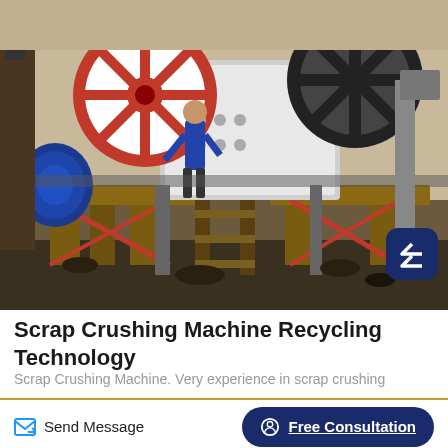[Figure (photo): Industrial jaw crusher / scrap crushing machine with large red and white flywheels, a worker in blue examining the equipment, mounted on a wooden/steel frame platform with red diagonal bracing rods. Outdoor industrial setting.]
Scrap Crushing Machine Recycling Technology
Scrap Crushing Machine. Very experience in scrap crushing
Send Message
Free Consultation